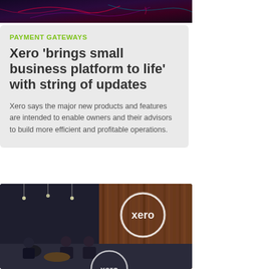[Figure (photo): Dark abstract background image with colored circuit-like lines in red, purple, and teal tones]
PAYMENT GATEWAYS
Xero 'brings small business platform to life' with string of updates
Xero says the major new products and features are intended to enable owners and their advisors to build more efficient and profitable operations.
[Figure (photo): People sitting in a modern office lounge with a glowing Xero logo neon sign on a wood-paneled wall]